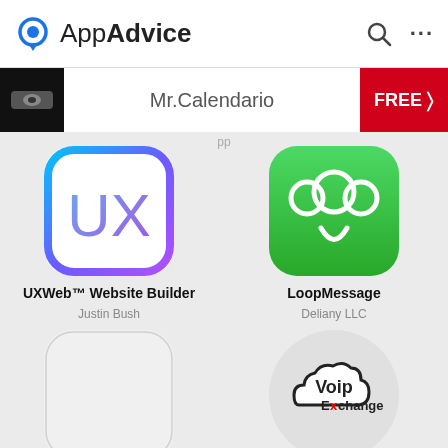AppAdvice
[Figure (screenshot): App banner for Mr.Calendario with FREE button]
[Figure (screenshot): UXWeb Website Builder app icon - gradient blue/purple rounded square with UX text]
UXWeb™ Website Builder
Justin Bush
[Figure (screenshot): LoopMessage app icon - green rounded square with chat bubbles]
LoopMessage
Deliany LLC
[Figure (screenshot): Cluster app icon - empty light gray rounded square]
Cluster
Tenda Alasassua
[Figure (screenshot): VoIP Exchange soft phone app icon - cloud with VoIP Exchange text]
VoIP Exchange soft phone
VoIP Unlimited